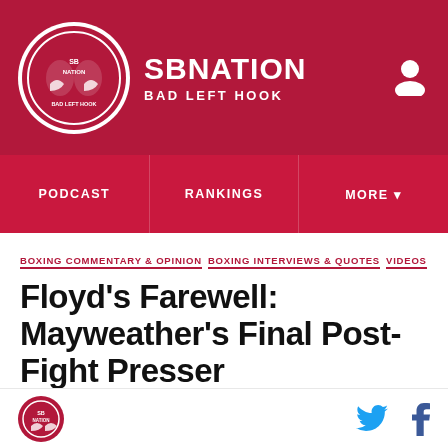SB NATION — BAD LEFT HOOK
PODCAST | RANKINGS | MORE
BOXING COMMENTARY & OPINION  BOXING INTERVIEWS & QUOTES  VIDEOS
Floyd's Farewell: Mayweather's Final Post-Fight Presser
If this is indeed supposed to be Floyd Mayweather's final fight, he's sure playing the part. Floyd Mayweather took the podium for the final time as a fighter, and offered some a
SB Nation logo | Twitter | Facebook